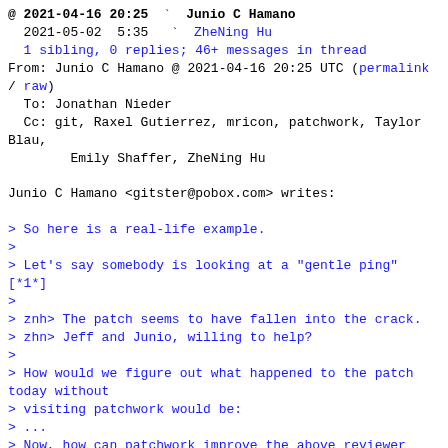@ 2021-04-16 20:25  Junio C Hamano
  2021-05-02  5:35  ZheNing Hu
  1 sibling, 0 replies; 46+ messages in thread
From: Junio C Hamano @ 2021-04-16 20:25 UTC (permalink / raw)
  To: Jonathan Nieder
  Cc: git, Raxel Gutierrez, mricon, patchwork, Taylor Blau,
          Emily Shaffer, ZheNing Hu

Junio C Hamano <gitster@pobox.com> writes:

> So here is a real-life example.
>
> Let's say somebody is looking at a "gentle ping" [*1*]
>
> znh> The patch seems to have fallen into the crack.
> zhn> Jeff and Junio, willing to help?
>
> How would we figure out what happened to the patch today without
> visiting patchwork would be:
> ...
> Now, how can patchwork improve the above reviewer experience, out
> of the box and possibly with new helpe rools around it?

Also, it would be ideal if it is made easy for willing